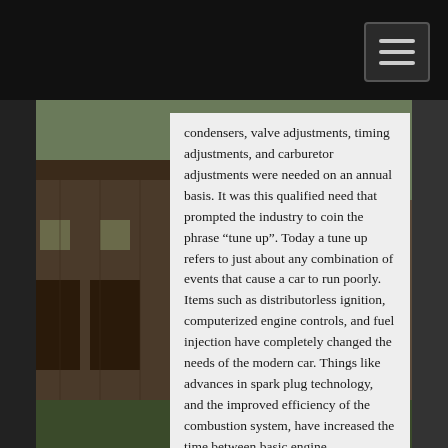[Figure (photo): Background photo of a building/barn exterior, visible on the left and right sides of the page behind a grey content panel. Dark header bar at top with hamburger menu button in top right corner.]
condensers, valve adjustments, timing adjustments, and carburetor adjustments were needed on an annual basis. It was this qualified need that prompted the industry to coin the phrase “tune up”. Today a tune up refers to just about any combination of events that cause a car to run poorly. Items such as distributorless ignition, computerized engine controls, and fuel injection have completely changed the needs of the modern car. Things like advances in spark plug technology, and the improved efficiency of the combustion system, have increased the time between basic engine